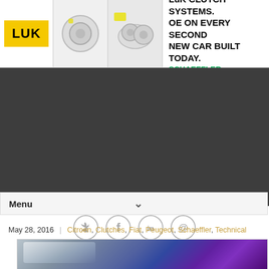[Figure (photo): LuK Clutch Systems advertisement banner with LuK logo, clutch component photos, headline 'LuK CLUTCH SYSTEMS. OE ON EVERY SECOND NEW CAR BUILT TODAY.' and Schaeffler brand name]
[Figure (photo): Dark grey/charcoal banner area, likely a website navigation or header background region]
[Figure (infographic): Four circular social media icons: Twitter (bird), Facebook (f), LinkedIn (in), Email (@)]
Menu
May 28, 2016 | Citroen, Clutches, Fiat, Peugeot, Schaeffler, Technical
[Figure (photo): Partial view of a purple/violet car, showing windshield, hood and body from above/side angle]